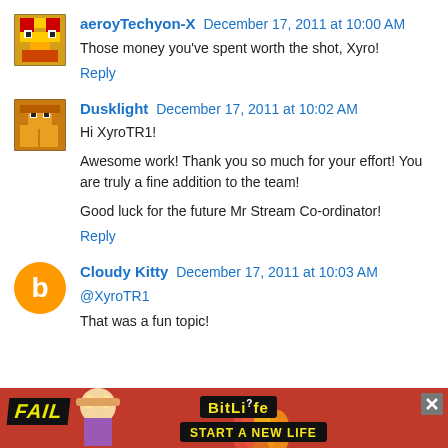aeroyTechyon-X  December 17, 2011 at 10:00 AM
Those money you've spent worth the shot, Xyro!
Reply
Dusklight  December 17, 2011 at 10:02 AM
Hi XyroTR1!
Awesome work! Thank you so much for your effort! You are truly a fine addition to the team!
Good luck for the future Mr Stream Co-ordinator!
Reply
Cloudy Kitty  December 17, 2011 at 10:03 AM
@XyroTR1
That was a fun topic!
[Figure (infographic): BitLife advertisement banner at the bottom: 'FAIL' text, cartoon character, flames, BitLife logo, 'START A NEW LIFE' text, close button]